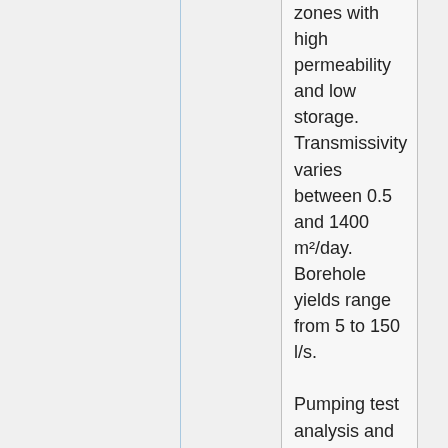zones with high permeability and low storage. Transmissivity varies between 0.5 and 1400 m²/day. Borehole yields range from 5 to 150 l/s.
Pumping test analysis and well logs from the Termaber Formation show that it is